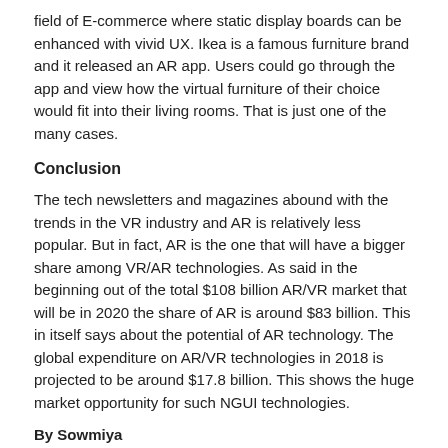field of E-commerce where static display boards can be enhanced with vivid UX. Ikea is a famous furniture brand and it released an AR app. Users could go through the app and view how the virtual furniture of their choice would fit into their living rooms. That is just one of the many cases.
Conclusion
The tech newsletters and magazines abound with the trends in the VR industry and AR is relatively less popular. But in fact, AR is the one that will have a bigger share among VR/AR technologies. As said in the beginning out of the total $108 billion AR/VR market that will be in 2020 the share of AR is around $83 billion. This in itself says about the potential of AR technology. The global expenditure on AR/VR technologies in 2018 is projected to be around $17.8 billion. This shows the huge market opportunity for such NGUI technologies.
By Sowmiya
Juego Studio is a pioneer in AR technology having built numerous solutions in them for various clients. One only needs to get in touch with us with their ideas and we'll take care of the rest.